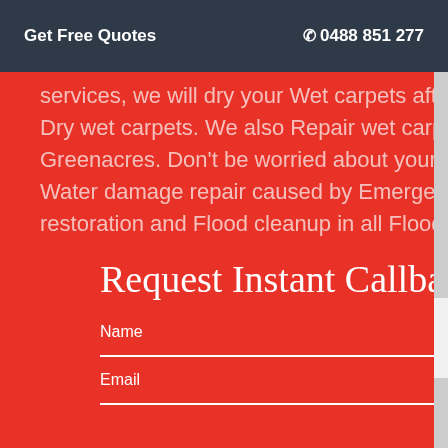Get Free Quotes   ✆ 0488 851 277
services, we will dry your Wet carpets after successful Water extraction and enable you to have Dry wet carpets. We also Repair wet carpets as part of our Water damage restoration services in Greenacres. Don't be worried about your Water damage carpet because when we carry out any Water damage repair caused by Emergency water damage after being called for same day Flood restoration and Flood cleanup in all Flooded basements and property.
Request Instant Callback
Name
Email